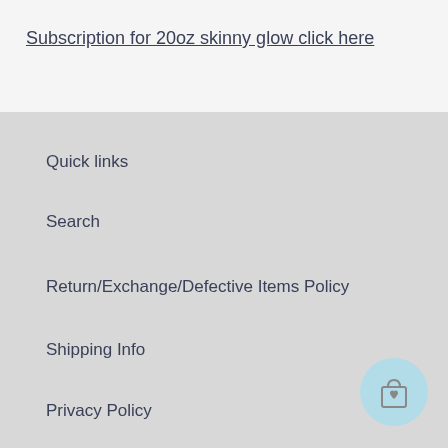Subscription for 20oz skinny glow click here
Quick links
Search
Return/Exchange/Defective Items Policy
Shipping Info
Privacy Policy
Terms and Conditions
[Figure (illustration): Shopping bag with heart icon inside a light blue circle]